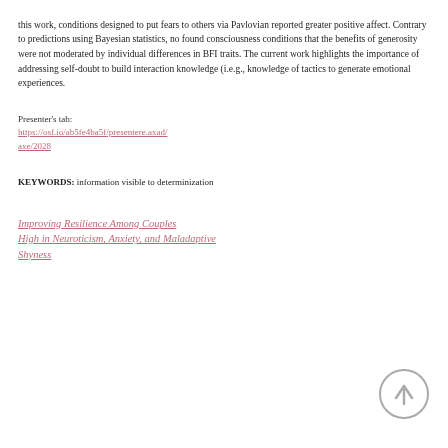this work, conditions designed to put fears to others via Pavlovian reported greater positive affect. Contrary to predictions using Bayesian statistics, no found consciousness conditions that the benefits of generosity were not moderated by individual differences in BFI traits. The current work highlights the importance of addressing self-doubt to build interaction knowledge (i.e.g., knowledge of tactics to generate emotional experiences.
Presenter's tab:
https://osf.io/ab5fe4ba5f/presentere.axad/axe/2028
KEYWORDS: information visible to determinization
Improving Resilience Among Couples High in Neuroticism, Anxiety, and Maladaptive Shyness